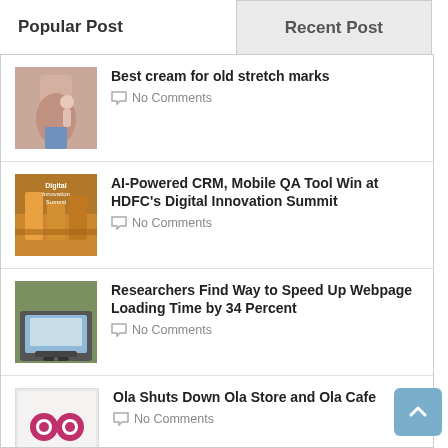Popular Post
Recent Post
Best cream for old stretch marks
No Comments
AI-Powered CRM, Mobile QA Tool Win at HDFC’s Digital Innovation Summit
No Comments
Researchers Find Way to Speed Up Webpage Loading Time by 34 Percent
No Comments
Ola Shuts Down Ola Store and Ola Cafe
No Comments